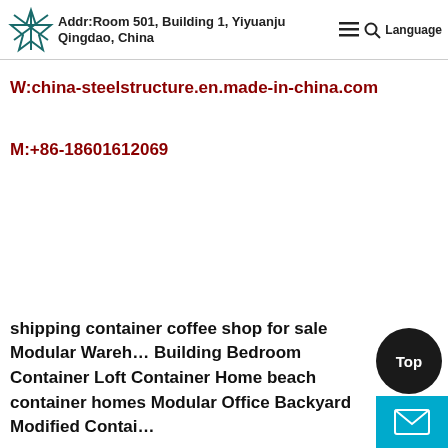Addr:Room 501, Building 1, Yiyuanju Qingdao, China  Language
W:china-steelstructure.en.made-in-china.com
M:+86-18601612069
shipping container coffee shop for sale Modular Warehouse Building Bedroom Container Loft Container Home beach container homes Modular Office Backyard Modified Container